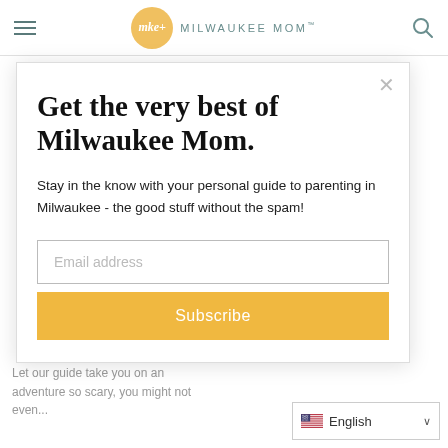Milwaukee Mom
Get the very best of Milwaukee Mom.
Stay in the know with your personal guide to parenting in Milwaukee - the good stuff without the spam!
Email address
Subscribe
Let our guide take you on an adventure so scary, you might not even...
English